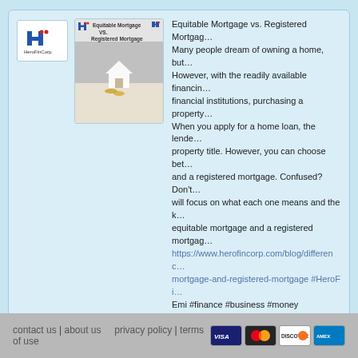[Figure (screenshot): Social media post card showing HeroFinCorp logo avatar, a thumbnail image of 'Equitable Mortgage vs. Registered Mortgage' with a house graphic, and post text about equitable vs registered mortgages with a link and hashtags. Includes category 'Business & Finance' and date 'February 2, 2022'.]
herofincorp's Rss Feed of updates
contact us | about us   privacy policy | terms of use   [Visa][Mastercard][Discover][Amex]